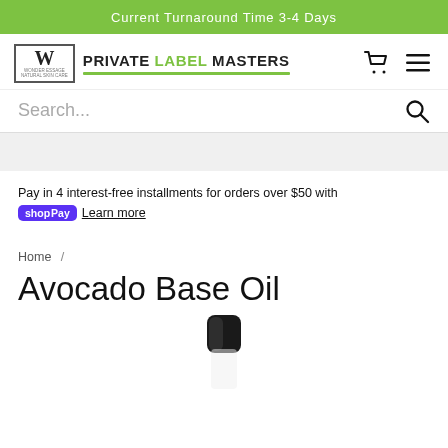Current Turnaround Time 3-4 Days
[Figure (logo): Private Label Masters logo with W icon and green underline]
Search...
Pay in 4 interest-free installments for orders over $50 with shop Pay Learn more
Home /
Avocado Base Oil
[Figure (photo): Black disc-top cap bottle of Avocado Base Oil]